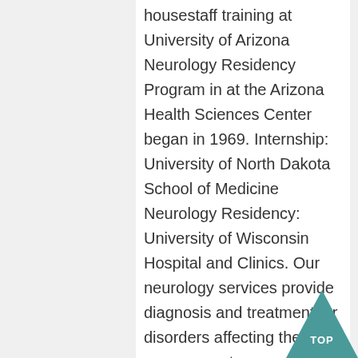housestaff training at University of Arizona Neurology Residency Program in at the Arizona Health Sciences Center began in 1969. Internship: University of North Dakota School of Medicine Neurology Residency: University of Wisconsin Hospital and Clinics. Our neurology services provide diagnosis and treatment for disorders affecting the nervous system. Established in 1911, The University of Tennessee Health Science Center aims to improve human health through educ...
[Figure (other): Teal/dark cyan triangle pointing upward with white text 'TOP' in the center, serving as a back-to-top navigation button in the bottom-right corner.]